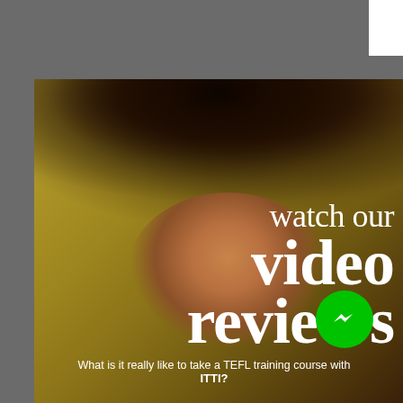[Figure (photo): Portrait photo of a young Black woman with voluminous curly hair against a mustard/gold background, with gray bars on top and left side. Overlaid text reads 'watch our video reviews' in large white serif font, with a green Facebook Messenger icon replacing the 's' at the end of 'reviews'. Bottom text reads 'What is it really like to take a TEFL training course with ITTI?']
watch our video reviews
What is it really like to take a TEFL training course with ITTI?